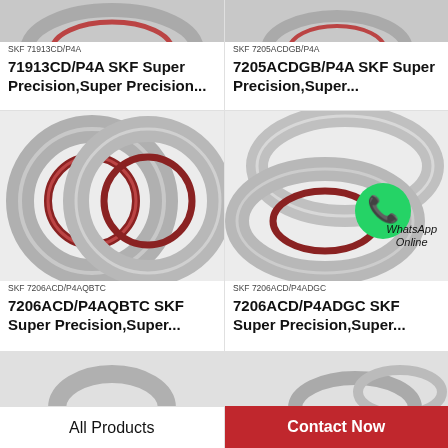[Figure (photo): SKF 71913CD/P4A bearing photo (partial top crop)]
SKF 71913CD/P4A
71913CD/P4A SKF Super Precision,Super Precision...
[Figure (photo): SKF 7205ACDGB/P4A bearing photo (partial top crop)]
SKF 7205ACDGB/P4A
7205ACDGB/P4A SKF Super Precision,Super...
[Figure (photo): SKF 7206ACD/P4AQBTC angular contact ball bearing, two rings shown]
SKF 7206ACD/P4AQBTC
7206ACD/P4AQBTC SKF Super Precision,Super...
[Figure (photo): SKF 7206ACD/P4ADGC angular contact ball bearing with WhatsApp Online badge overlay]
SKF 7206ACD/P4ADGC
7206ACD/P4ADGC SKF Super Precision,Super...
[Figure (photo): Partial bearing photo at bottom left]
[Figure (photo): Partial bearing photo at bottom right]
All Products
Contact Now